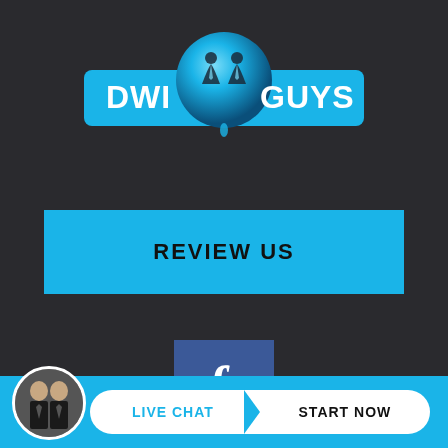[Figure (logo): DWI Guys logo — blue rectangular banner with white text 'DWI GUYS' and a blue sphere with silhouettes of two suited men in the center]
REVIEW US
[Figure (illustration): Facebook social media icon — dark blue square with white lowercase 'f' letter]
[Figure (illustration): Twitter social media icon — light blue square with white bird logo]
[Figure (illustration): Bottom live chat bar with circular avatar photo of two men in suits, and a white pill-shaped button reading 'LIVE CHAT > START NOW']